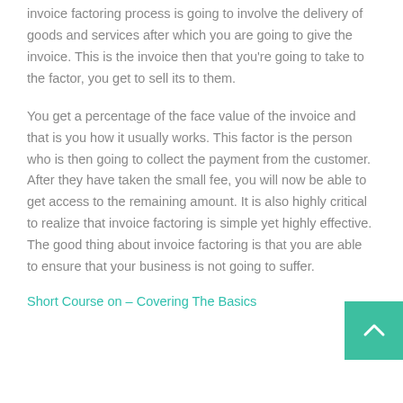invoice factoring process is going to involve the delivery of goods and services after which you are going to give the invoice. This is the invoice then that you're going to take to the factor, you get to sell its to them.
You get a percentage of the face value of the invoice and that is you how it usually works. This factor is the person who is then going to collect the payment from the customer. After they have taken the small fee, you will now be able to get access to the remaining amount. It is also highly critical to realize that invoice factoring is simple yet highly effective. The good thing about invoice factoring is that you are able to ensure that your business is not going to suffer.
Short Course on – Covering The Basics